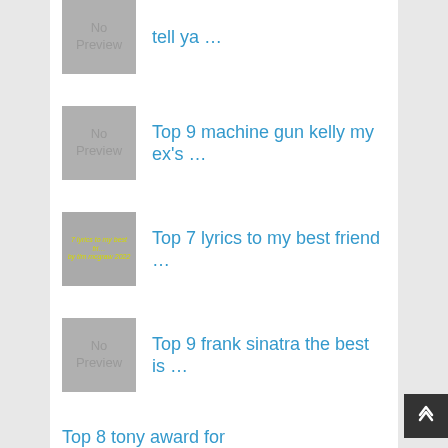tell ya …
Top 9 machine gun kelly my ex's …
Top 7 lyrics to my best friend …
Top 9 frank sinatra the best is …
Top 9 best worst thing that ever …
Top 8 tony award for